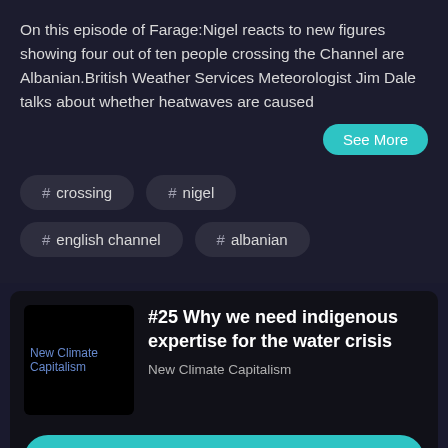On this episode of Farage:Nigel reacts to new figures showing four out of ten people crossing the Channel are Albanian.British Weather Services Meteorologist Jim Dale talks about whether heatwaves are caused
See More
# crossing
# nigel
# english channel
# albanian
[Figure (other): New Climate Capitalism podcast thumbnail image (broken/placeholder)]
#25 Why we need indigenous expertise for the water crisis
New Climate Capitalism
Play Episode